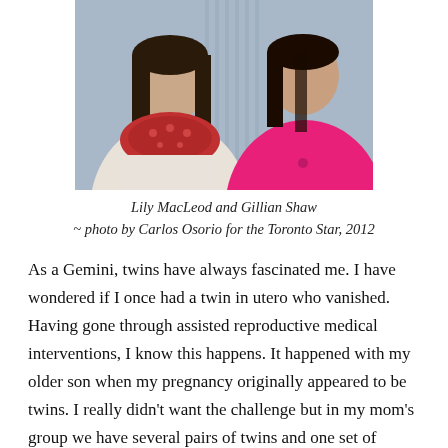[Figure (photo): Two women facing each other in conversation. Left woman wears a white top with a red patterned scarf; right woman wears a bright pink top. Photo taken indoors with a blurred background.]
Lily MacLeod and Gillian Shaw
~ photo by Carlos Osorio for the Toronto Star, 2012
As a Gemini, twins have always fascinated me. I have wondered if I once had a twin in utero who vanished. Having gone through assisted reproductive medical interventions, I know this happens. It happened with my older son when my pregnancy originally appeared to be twins. I really didn't want the challenge but in my mom's group we have several pairs of twins and one set of triplets. The father of the man I am married to was a twin. Both my father in law and his twin brother are now deceased.